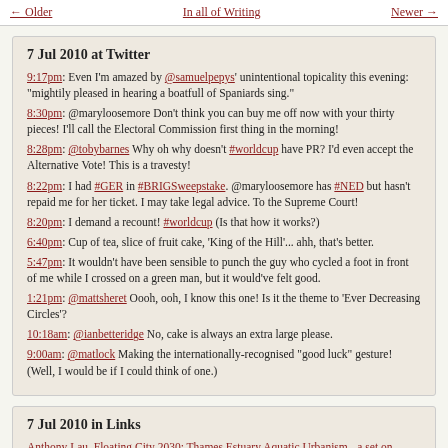← Older   In all of Writing   Newer →
7 Jul 2010 at Twitter
9:17pm: Even I'm amazed by @samuelpepys' unintentional topicality this evening: "mightily pleased in hearing a boatfull of Spaniards sing."
8:30pm: @maryloosemore Don't think you can buy me off now with your thirty pieces! I'll call the Electoral Commission first thing in the morning!
8:28pm: @tobybarnes Why oh why doesn't #worldcup have PR? I'd even accept the Alternative Vote! This is a travesty!
8:22pm: I had #GER in #BRIGSweepstake. @maryloosemore has #NED but hasn't repaid me for her ticket. I may take legal advice. To the Supreme Court!
8:20pm: I demand a recount! #worldcup (Is that how it works?)
6:40pm: Cup of tea, slice of fruit cake, 'King of the Hill'... ahh, that's better.
5:47pm: It wouldn't have been sensible to punch the guy who cycled a foot in front of me while I crossed on a green man, but it would've felt good.
1:21pm: @mattsheret Oooh, ooh, I know this one! Is it the theme to 'Ever Decreasing Circles'?
10:18am: @ianbetteridge No, cake is always an extra large please.
9:00am: @matlock Making the internationally-recognised "good luck" gesture! (Well, I would be if I could think of one.)
7 Jul 2010 in Links
Anthony Lau, Floating City 2030: Thames Estuary Aquatic Urbanism - a set on Flickr
A project to visualise a floating city in the Thames Estuary. Lovely images. (via